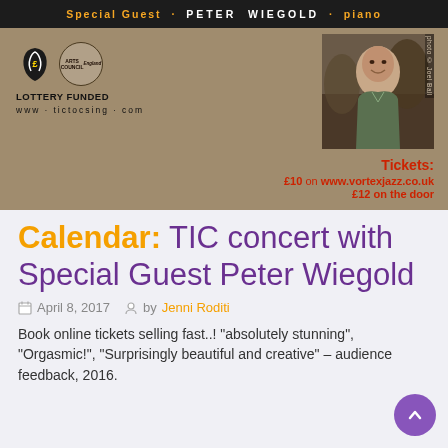[Figure (infographic): Concert banner with black top bar reading 'Special Guest · PETER WIEGOLD · piano' in orange and white text, tan/khaki background with Arts Council Lottery Funded logo on left, photo of Peter Wiegold (man smiling outdoors) top right, ticket info bottom right: 'Tickets: £10 on www.vortexjazz.co.uk £12 on the door', website www.tictocsing.com at bottom left]
Calendar: TIC concert with Special Guest Peter Wiegold
April 8, 2017  by Jenni Roditi
Book online tickets selling fast..! "absolutely stunning", "Orgasmic!", "Surprisingly beautiful and creative" – audience feedback, 2016.